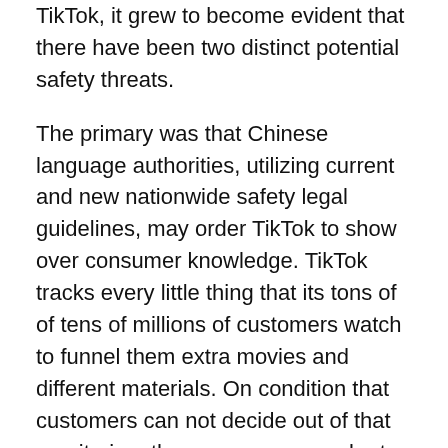TikTok, it grew to become evident that there have been two distinct potential safety threats.
The primary was that Chinese language authorities, utilizing current and new nationwide safety legal guidelines, may order TikTok to show over consumer knowledge. TikTok tracks every little thing that its tons of of tens of millions of customers watch to funnel them extra movies and different materials. On condition that customers can not decide out of that monitoring, the one answer can be to maneuver the info on Individuals to servers which can be solely in america, Mr. Smith stated.
(TikTok presently makes use of a serious server in Virginia, however backs up a few of its knowledge in Singapore, and there are questions on whether or not Chinese language authorities may attain into any of these enormous swimming pools of consumer